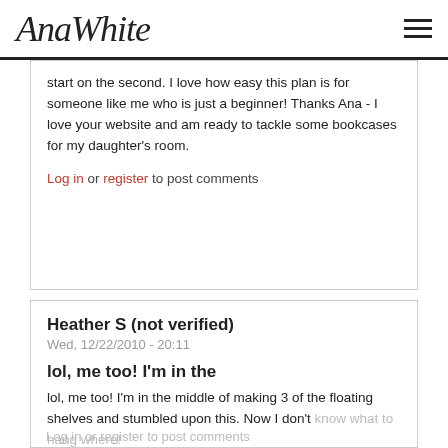AnaWhite
start on the second. I love how easy this plan is for someone like me who is just a beginner! Thanks Ana - I love your website and am ready to tackle some bookcases for my daughter's room.
Log in or register to post comments
Heather S (not verified)
Wed, 12/22/2010 - 20:11
lol, me too! I'm in the
lol, me too! I'm in the middle of making 3 of the floating shelves and stumbled upon this. Now I don't know what to hang where!